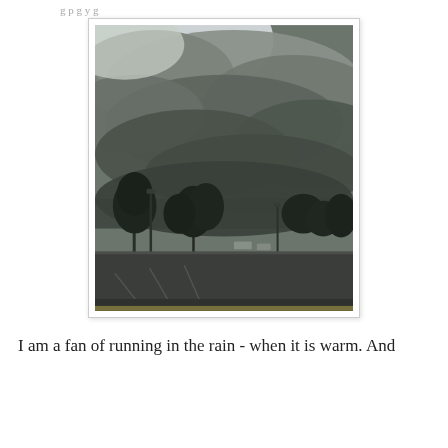[Figure (photo): A stormy sky with dark, dramatic clouds over a parking lot and treeline. A street lamp and trees are visible in the middle distance. The foreground shows an empty parking lot with lane markings.]
I am a fan of running in the rain - when it is warm. And